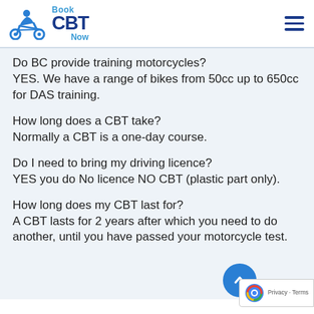Book CBT Now
Do BC provide training motorcycles?
YES. We have a range of bikes from 50cc up to 650cc for DAS training.
How long does a CBT take?
Normally a CBT is a one-day course.
Do I need to bring my driving licence?
YES you do No licence NO CBT (plastic part only).
How long does my CBT last for?
A CBT lasts for 2 years after which you need to do another, until you have passed your motorcycle test.